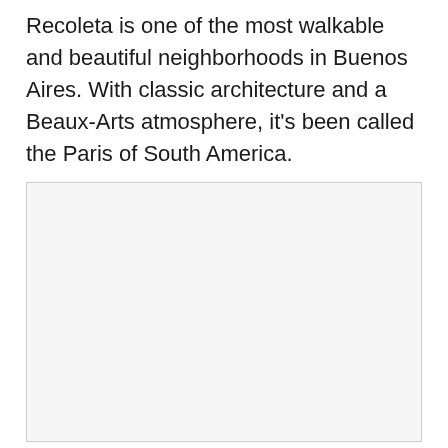Recoleta is one of the most walkable and beautiful neighborhoods in Buenos Aires. With classic architecture and a Beaux-Arts atmosphere, it’s been called the Paris of South America.
[Figure (photo): A large light gray placeholder image box with a thin border, occupying the lower portion of the page.]